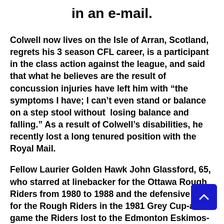in an e-mail.
Colwell now lives on the Isle of Arran, Scotland, regrets his 3 season CFL career, is a participant in the class action against the league, and said that what he believes are the result of concussion injuries have left him with “the symptoms I have; I can’t even stand or balance on a step stool without losing balance and falling.” As a result of Colwell’s disabilities, he recently lost a long tenured position with the Royal Mail.
Fellow Laurier Golden Hawk John Glassford, 65, who starred at linebacker for the Ottawa Rough Riders from 1980 to 1988 and the defensive MVP for the Rough Riders in the 1981 Grey Cup-a game the Riders lost to the Edmonton Eskimos-and former Golden Hawk Jim Reid, a big, hard rock old school fullback who played for the Ottawa Rough Riders from 1980 to 1989, have different takes on their playing careers compared to that of Colwell.